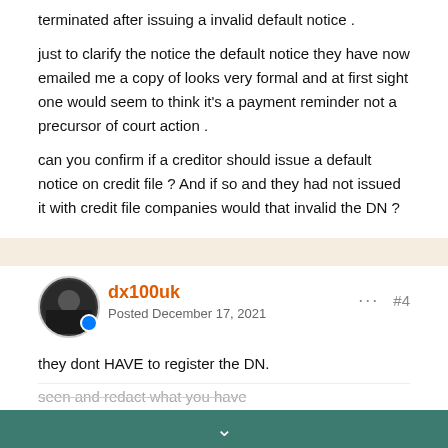terminated after issuing a invalid default notice .
just to clarify the notice the default notice they have now emailed me a copy of looks very formal and at first sight one would seem to think it's a payment reminder not a precursor of court action .
can you confirm if a creditor should issue a default notice on credit file ? And if so and they had not issued it with credit file companies would that invalid the DN ?
dx100uk
Posted December 17, 2021
they dont HAVE to register the DN.
seen and redact what you have